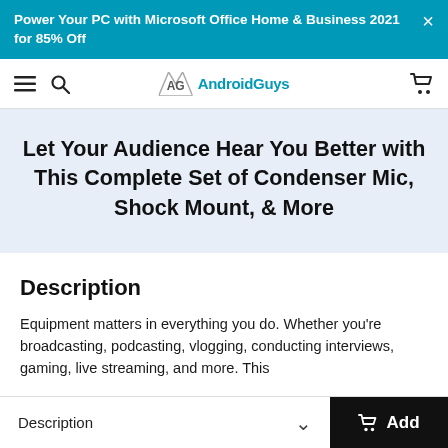Power Your PC with Microsoft Office Home & Business 2021 for 85% Off
[Figure (logo): AndroidGuys logo with stylized AG monogram and teal text]
Let Your Audience Hear You Better with This Complete Set of Condenser Mic, Shock Mount, & More
Description
Equipment matters in everything you do. Whether you're broadcasting, podcasting, vlogging, conducting interviews, gaming, live streaming, and more. This
Description  Add